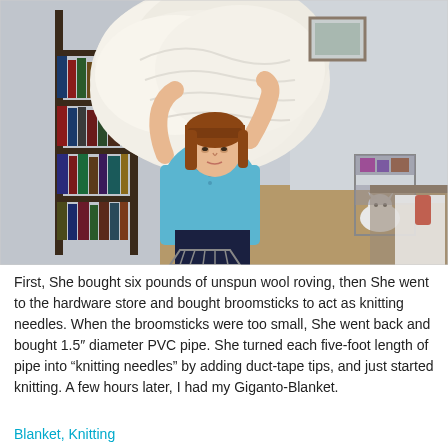[Figure (photo): A woman with reddish-brown hair wearing a light blue shirt holds a massive bundle of cream/white unspun wool roving over her head and shoulder. Behind her is a tall bookshelf filled with books, a white cat on the floor, a metal cart, and a dining table with a white chair. The room has hardwood floors.]
First, She bought six pounds of unspun wool roving, then She went to the hardware store and bought broomsticks to act as knitting needles. When the broomsticks were too small, She went back and bought 1.5" diameter PVC pipe. She turned each five-foot length of pipe into “knitting needles” by adding duct-tape tips, and just started knitting. A few hours later, I had my Giganto-Blanket.
Blanket, Knitting